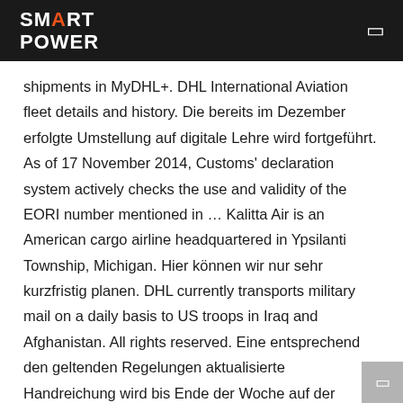SMART POWER
shipments in MyDHL+. DHL International Aviation fleet details and history. Die bereits im Dezember erfolgte Umstellung auf digitale Lehre wird fortgeführt. As of 17 November 2014, Customs' declaration system actively checks the use and validity of the EORI number mentioned in … Kalitta Air is an American cargo airline headquartered in Ypsilanti Township, Michigan. Hier können wir nur sehr kurzfristig planen. DHL currently transports military mail on a daily basis to US troops in Iraq and Afghanistan. All rights reserved. Eine entsprechend den geltenden Regelungen aktualisierte Handreichung wird bis Ende der Woche auf der Corona-Webseite der Hochschule veröffentlicht. Thus, the Worms University of Applied Sciences will also start from this date. You will be informed about the changes by your